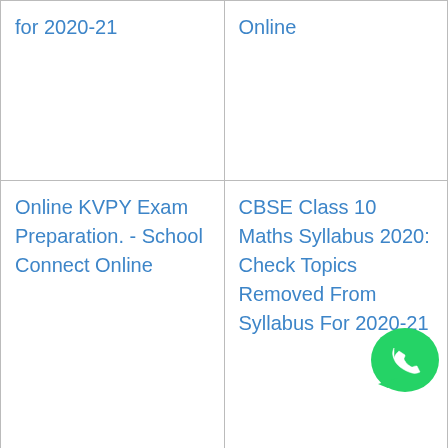| for 2020-21 | Online |
| Online KVPY Exam Preparation. - School Connect Online | CBSE Class 10 Maths Syllabus 2020: Check Topics Removed From Syllabus For 2020-21 |
| Artificial Intelligence Syllabus(AI) For Class 10 Students | CBSE Class 8 AI Syllabus |